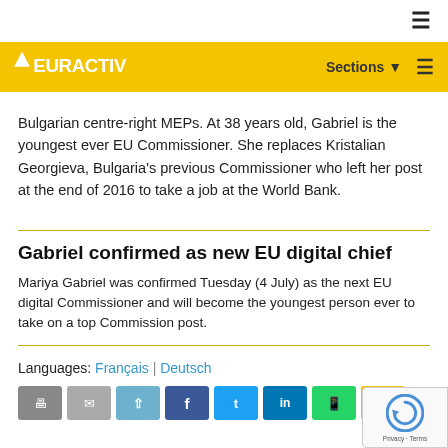EURACTIV — Sections ☰
Bulgarian centre-right MEPs. At 38 years old, Gabriel is the youngest ever EU Commissioner. She replaces Kristalian Georgieva, Bulgaria's previous Commissioner who left her post at the end of 2016 to take a job at the World Bank.
Gabriel confirmed as new EU digital chief
Mariya Gabriel was confirmed Tuesday (4 July) as the next EU digital Commissioner and will become the youngest person ever to take on a top Commission post.
Languages: Français | Deutsch